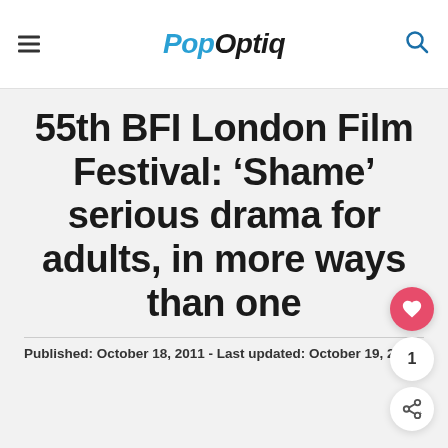PopOptiq
55th BFI London Film Festival: ‘Shame’ serious drama for adults, in more ways than one
Published: October 18, 2011 - Last updated: October 19, 2011